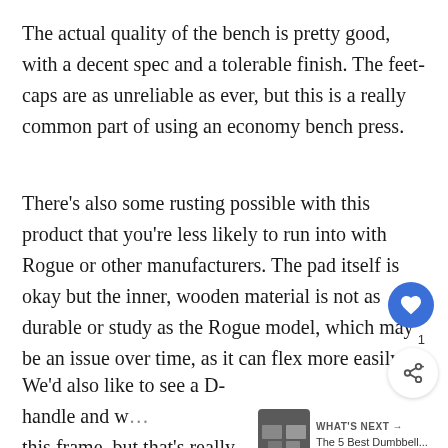The actual quality of the bench is pretty good, with a decent spec and a tolerable finish. The feet-caps are as unreliable as ever, but this is a really common part of using an economy bench press.
There's also some rusting possible with this product that you're less likely to run into with Rogue or other manufacturers. The pad itself is okay but the inner, wooden material is not as durable or study as the Rogue model, which may be an issue over time, as it can flex more easily
We'd also like to see a D-handle and w… this frame, but that's really not a necess… construction may also require some tweaks so